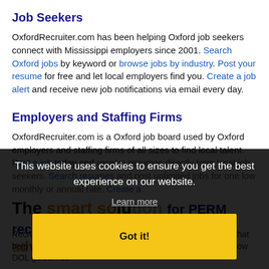Job Seekers
OxfordRecruiter.com has been helping Oxford job seekers connect with Mississippi employers since 2001. Search Oxford jobs by keyword or browse jobs by industry. Post your resume for free and let local employers find you. Create a job alert and receive new job notifications via email every day.
Employers and Staffing Firms
OxfordRecruiter.com is a Oxford job board used by Oxford employers and staffing firms of all sizes to find local talent. Post a job today and receive resumes directly from local job seekers. Search resumes and post unlimited jobs for one low monthly or annual rate. Create a featured job listing...
The smart solution for PERM recruitment advertising
This website uses cookies to ensure you get the best experience on our website.
Learn more
Got it!
RecruiterNetworks.com is engineered with support features that help automate immigration recruitment advertisements to follow DOL guidelines.